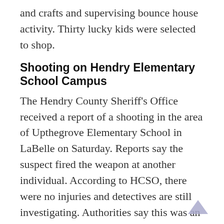and crafts and supervising bounce house activity. Thirty lucky kids were selected to shop.
Shooting on Hendry Elementary School Campus
The Hendry County Sheriff’s Office received a report of a shooting in the area of Upthegrove Elementary School in LaBelle on Saturday. Reports say the suspect fired the weapon at another individual. According to HCSO, there were no injuries and detectives are still investigating. Authorities say this was an isolated incident and the public was not in danger. Reportedly, those involved were in the area for a non-school related event.
Shooting in Belle Glade, 1 Dead
Teri Barbera, Public Information Officer for the